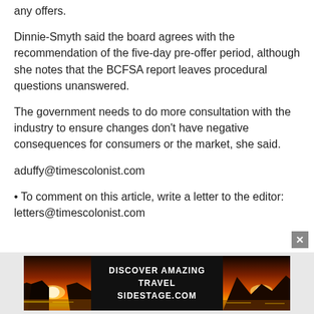any offers.
Dinnie-Smyth said the board agrees with the recommendation of the five-day pre-offer period, although she notes that the BCFSA report leaves procedural questions unanswered.
The government needs to do more consultation with the industry to ensure changes don't have negative consequences for consumers or the market, she said.
aduffy@timescolonist.com
• To comment on this article, write a letter to the editor: letters@timescolonist.com
[Figure (infographic): Advertisement banner for 'Discover Amazing Travel Sidestage.com' with sunset/landscape photos on either side of a dark center panel with text.]